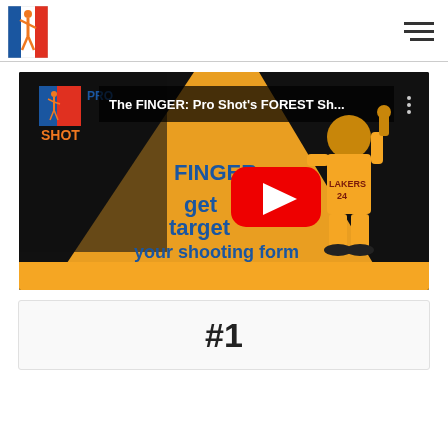Pro Shot logo and navigation menu
[Figure (screenshot): YouTube video thumbnail for 'The FINGER: Pro Shot's FOREST Sh...' showing a basketball player in Lakers #24 jersey with orange triangle spotlight, text reading FINGER: get target your shooting form, and a red YouTube play button in the center]
#1